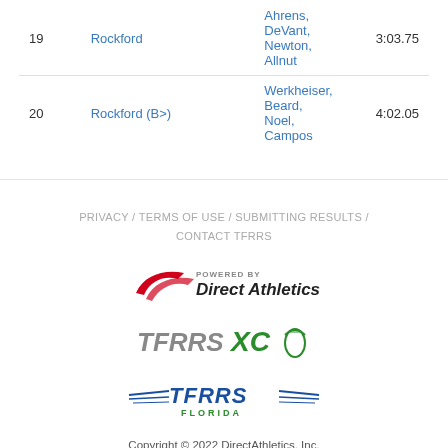| # | Team | Athletes | Time |
| --- | --- | --- | --- |
| 19 | Rockford | Ahrens, DeVant, Newton, Allnut | 3:03.75 |
| 20 | Rockford (B>) | Werkheiser, Beard, Noel, Campos | 4:02.05 |
PRIVACY / TERMS OF USE / SUBMITTING RESULTS / CONTACT TFRRS
[Figure (logo): Powered by Direct Athletics logo with red swoosh]
[Figure (logo): TFRRS XC logo in gray and green with winged foot]
[Figure (logo): TFRRS Florida logo in blue with wings]
Copyright © 2022 DirectAthletics, Inc.
Generated 2022-08-30 22:09:37